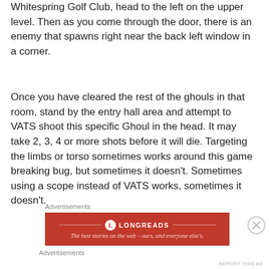Whitespring Golf Club, head to the left on the upper level. Then as you come through the door, there is an enemy that spawns right near the back left window in a corner.
Once you have cleared the rest of the ghouls in that room, stand by the entry hall area and attempt to VATS shoot this specific Ghoul in the head. It may take 2, 3, 4 or more shots before it will die. Targeting the limbs or torso sometimes works around this game breaking bug, but sometimes it doesn't. Sometimes using a scope instead of VATS works, sometimes it doesn't.
Advertisements
[Figure (other): Longreads advertisement banner — red background with Longreads logo and tagline: The best stories on the web – ours, and everyone else's.]
Advertisements